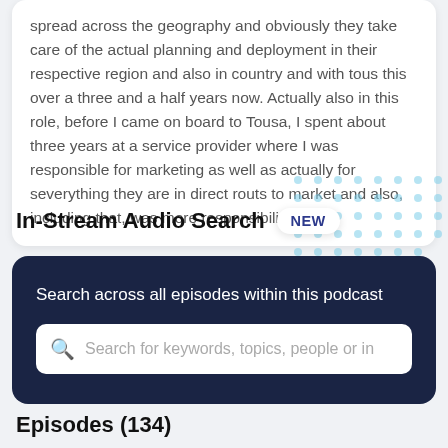spread across the geography and obviously they take care of the actual planning and deployment in their respective region and also in country and with tous this over a three and a half years now. Actually also in this role, before I came on board to Tousa, I spent about three years at a service provider where I was responsible for marketing as well as actually for severything they are in direct routs to market and also, including that, was more responsibility for
In-Stream Audio Search
Search across all episodes within this podcast
Search for keywords, topics, people or in
Episodes (134)